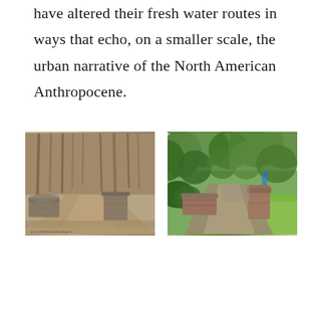have altered their fresh water routes in ways that echo, on a smaller scale, the urban narrative of the North American Anthropocene.
[Figure (photo): A historical sepia-toned photograph showing a park path lined with pine trees and stone walls on either side, with a curved stone bench or wall feature. Small caption at bottom reads text referencing Lewisburg, Pa.]
[Figure (photo): A modern color photograph showing the same park path and stone wall features, now with green leafy trees, grass, and a paved path. A blue sign is visible in the background.]